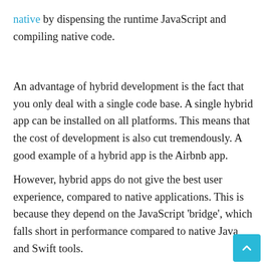native by dispensing the runtime JavaScript and compiling native code.
An advantage of hybrid development is the fact that you only deal with a single code base. A single hybrid app can be installed on all platforms. This means that the cost of development is also cut tremendously. A good example of a hybrid app is the Airbnb app.
However, hybrid apps do not give the best user experience, compared to native applications. This is because they depend on the JavaScript 'bridge', which falls short in performance compared to native Java and Swift tools.